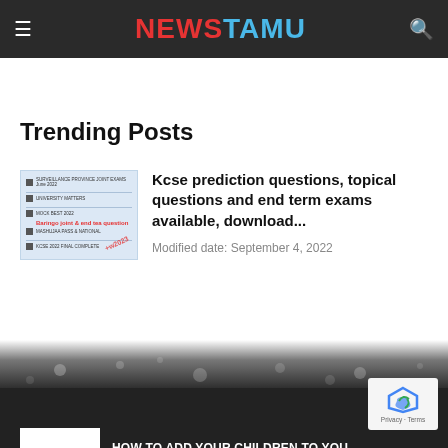NEWSTAMU
Trending Posts
[Figure (screenshot): Thumbnail image of exam paper listing with KCSE joint exams and red watermark text]
Kcse prediction questions, topical questions and end term exams available, download...
Modified date: September 4, 2022
[Figure (photo): Dark bokeh background photo transitioning from white to dark]
EDITOR PICKS
[Figure (logo): NHIF logo with blue cross symbol on white background]
HOW TO ADD YOUR CHILDREN TO YOUR COVER USING YOUR...